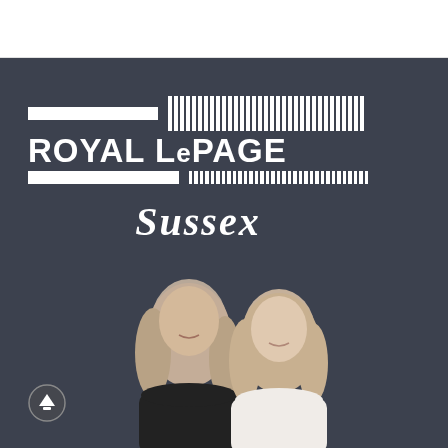[Figure (logo): Royal LePage Sussex real estate logo with two horizontal bars and vertical line pattern, with 'Sussex' in italic below]
[Figure (photo): Two smiling women with blonde hair, one in black outfit and one in white, photographed from shoulders up against dark background]